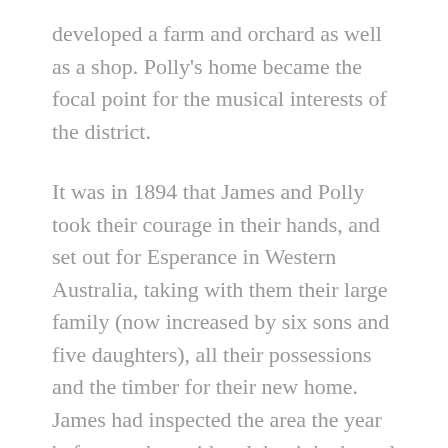developed a farm and orchard as well as a shop. Polly's home became the focal point for the musical interests of the district.
It was in 1894 that James and Polly took their courage in their hands, and set out for Esperance in Western Australia, taking with them their large family (now increased by six sons and five daughters), all their possessions and the timber for their new home. James had inspected the area the year before, and considered that it had good possibilities for settlement.
Friends had arranged to drive the family to a beach where a boat was to pick them up; it is not difficult to imagine how Polly must have felt